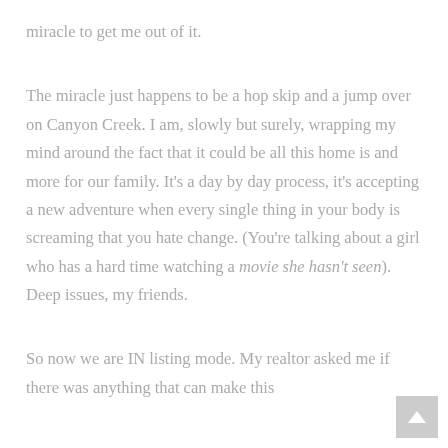miracle to get me out of it.
The miracle just happens to be a hop skip and a jump over on Canyon Creek. I am, slowly but surely, wrapping my mind around the fact that it could be all this home is and more for our family. It's a day by day process, it's accepting a new adventure when every single thing in your body is screaming that you hate change. (You're talking about a girl who has a hard time watching a movie she hasn't seen). Deep issues, my friends.
So now we are IN listing mode. My realtor asked me if there was anything that can make this